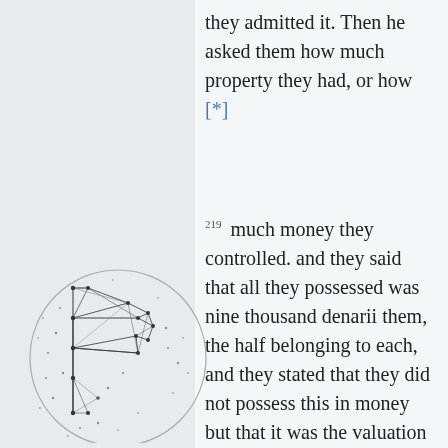they admitted it. Then he asked them how much property they had, or how [*]
219 much money they controlled. and they said that all they possessed was nine thousand denarii them, the half belonging to each, and they stated that they did not possess this in money but that it was the valuation of only thirty-nine plethra of ground on which they paid taxes and lived on it by their own " They then showed him their hands, adducing as testimony of their labour
[Figure (logo): A circular logo featuring a geometric letter P made of interconnected nodes and lines (network/constellation style), with a circle outline around it, on a light gray background.]